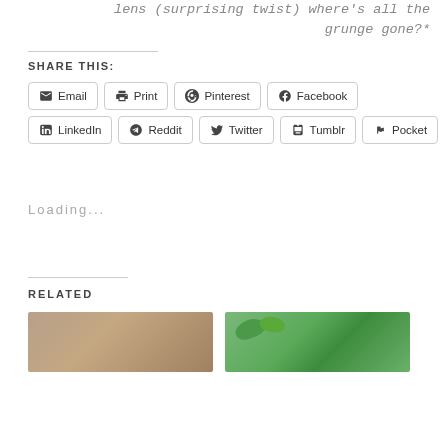lens (surprising twist) where's all the grunge gone?*
SHARE THIS:
Email
Print
Pinterest
Facebook
LinkedIn
Reddit
Twitter
Tumblr
Pocket
Loading...
RELATED
[Figure (photo): Brown/tan colored photo thumbnail]
[Figure (photo): Green leaves/plant photo thumbnail]